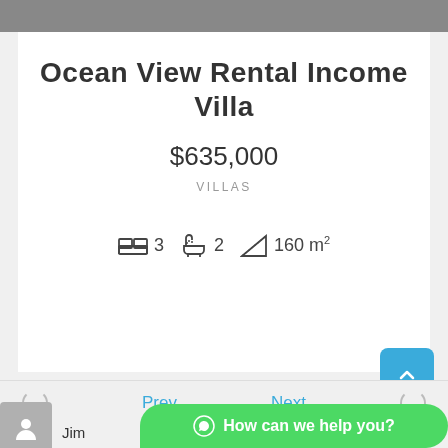Ocean View Rental Income Villa
$635,000
VILLAS
3  2  160 m²
Prev
Next
Jim
How can we help you?